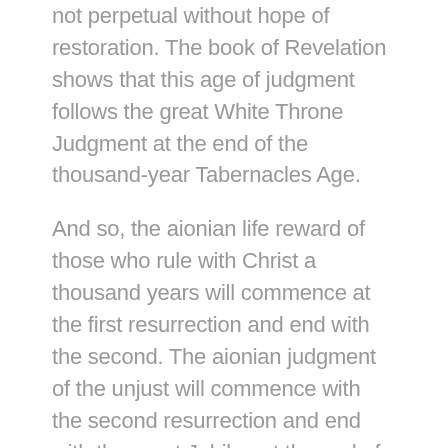not perpetual without hope of restoration. The book of Revelation shows that this age of judgment follows the great White Throne Judgment at the end of the thousand-year Tabernacles Age.
And so, the aionian life reward of those who rule with Christ a thousand years will commence at the first resurrection and end with the second. The aionian judgment of the unjust will commence with the second resurrection and end with the great Jubilee at the end of time, after all things have been put under the feet of Christ.
Consequently, Augustine's argument that aionian life and aionian judgment must both be equal is absolutely correct. The problem arises when he tries